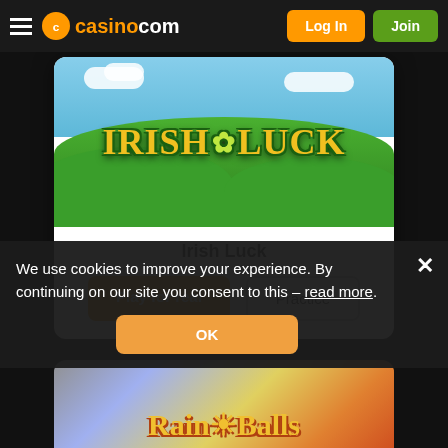casino.com — Log In | Join
[Figure (screenshot): Irish Luck slot game promotional image showing green hills and stylized gold/green IRISH LUCK text with shamrock]
Irish Luck
Play for real | Practice
We use cookies to improve your experience. By continuing on our site you consent to this – read more.
[Figure (screenshot): Partial view of another slot game: Rainbow Balls, showing colorful background with game title text]